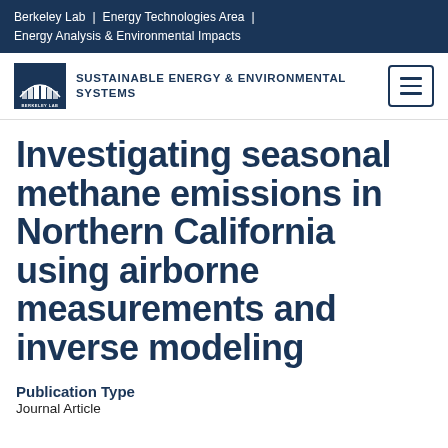Berkeley Lab | Energy Technologies Area | Energy Analysis & Environmental Impacts
[Figure (logo): Berkeley Lab logo with building/arch icon and text, next to SUSTAINABLE ENERGY & ENVIRONMENTAL SYSTEMS nav title, and hamburger menu button]
Investigating seasonal methane emissions in Northern California using airborne measurements and inverse modeling
Publication Type
Journal Article